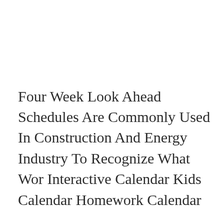Four Week Look Ahead Schedules Are Commonly Used In Construction And Energy Industry To Recognize What Wor Interactive Calendar Kids Calendar Homework Calendar